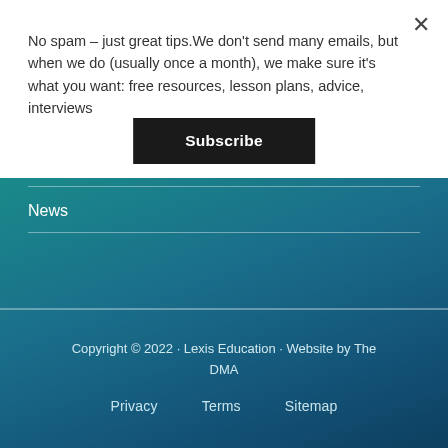No spam – just great tips.We don't send many emails, but when we do (usually once a month), we make sure it's what you want: free resources, lesson plans, advice, interviews
Subscribe
News
Copyright © 2022 · Lexis Education · Website by The DMA
Privacy   Terms   Sitemap